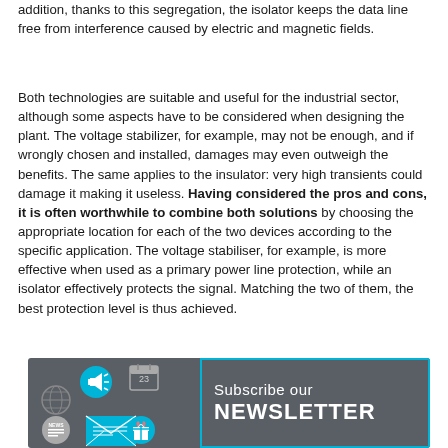addition, thanks to this segregation, the isolator keeps the data line free from interference caused by electric and magnetic fields.
Both technologies are suitable and useful for the industrial sector, although some aspects have to be considered when designing the plant. The voltage stabilizer, for example, may not be enough, and if wrongly chosen and installed, damages may even outweigh the benefits. The same applies to the insulator: very high transients could damage it making it useless. Having considered the pros and cons, it is often worthwhile to combine both solutions by choosing the appropriate location for each of the two devices according to the specific application. The voltage stabiliser, for example, is more effective when used as a primary power line protection, while an isolator effectively protects the signal. Matching the two of them, the best protection level is thus achieved.
[Figure (infographic): Newsletter subscription banner with dark gray background, icons (megaphone, globe, calendar, envelope, news, gift) on the left, and text 'Subscribe our NEWSLETTER' on the right inside a cyan border rectangle.]